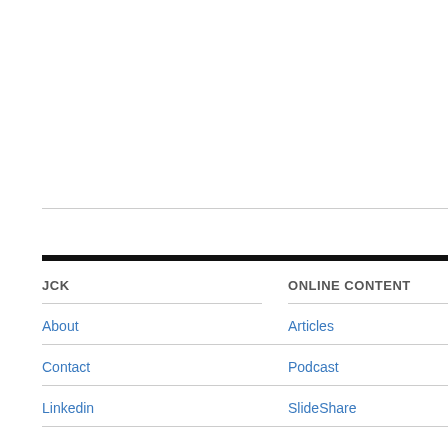JCK
ONLINE CONTENT
About
Articles
Contact
Podcast
Linkedin
SlideShare